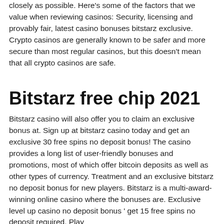closely as possible. Here's some of the factors that we value when reviewing casinos: Security, licensing and provably fair, latest casino bonuses bitstarz exclusive. Crypto casinos are generally known to be safer and more secure than most regular casinos, but this doesn't mean that all crypto casinos are safe.
Bitstarz free chip 2021
Bitstarz casino will also offer you to claim an exclusive bonus at. Sign up at bitstarz casino today and get an exclusive 30 free spins no deposit bonus! The casino provides a long list of user-friendly bonuses and promotions, most of which offer bitcoin deposits as well as other types of currency. Treatment and an exclusive bitstarz no deposit bonus for new players. Bitstarz is a multi-award-winning online casino where the bonuses are. Exclusive level up casino no deposit bonus ' get 15 free spins no deposit required. Play